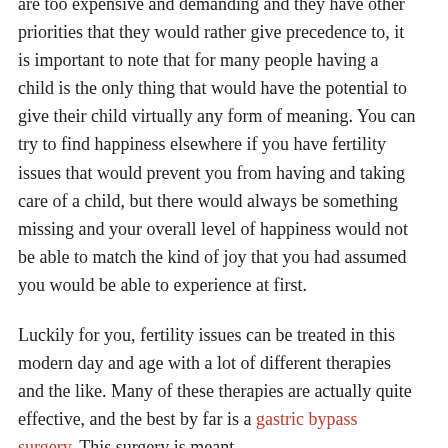children because of the fact that they found children are too expensive and demanding and they have other priorities that they would rather give precedence to, it is important to note that for many people having a child is the only thing that would have the potential to give their child virtually any form of meaning. You can try to find happiness elsewhere if you have fertility issues that would prevent you from having and taking care of a child, but there would always be something missing and your overall level of happiness would not be able to match the kind of joy that you had assumed you would be able to experience at first.
Luckily for you, fertility issues can be treated in this modern day and age with a lot of different therapies and the like. Many of these therapies are actually quite effective, and the best by far is a gastric bypass surgery. This surgery is meant